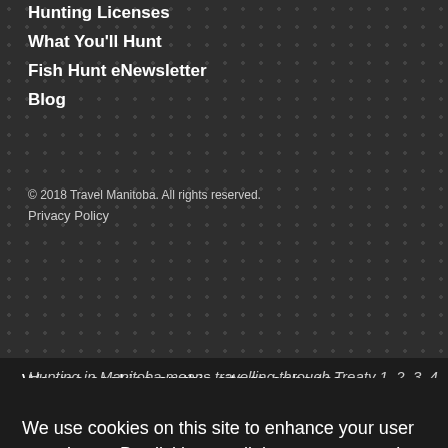Hunting Licenses
What You'll Hunt
Fish Hunt eNewsletter
Blog
© 2018 Travel Manitoba. All rights reserved.
Privacy Policy
Hunting in Manitoba means travelling through Treaty 1, 2, 3, 4 ...ries ...d of ...e and ...Métis.
We use cookies on this site to enhance your user experience. By clicking any links you are agreeing to let us set cookies. To learn more about what we do with your cookies view our Cookie Policy
Accept & Dismiss
...rship h,